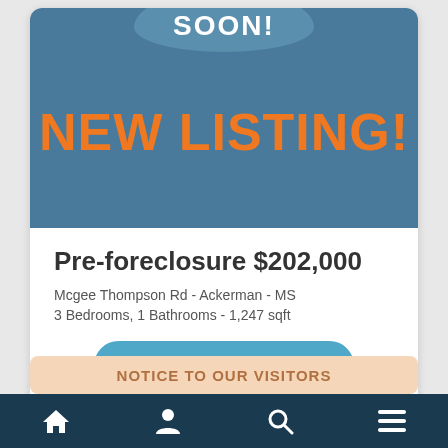NEW LISTING!
Pre-foreclosure $202,000
Mcgee Thompson Rd - Ackerman - MS
3 Bedrooms, 1 Bathrooms - 1,247 sqft
MORE INFO
NOTICE TO OUR VISITORS